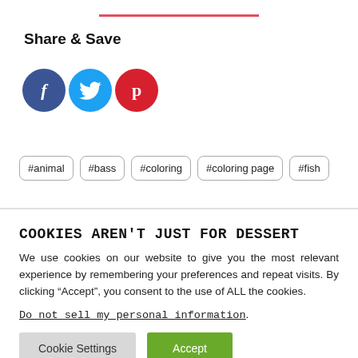Share & Save
[Figure (illustration): Three social media icon circles: Facebook (dark blue, f), Twitter (light blue, bird icon), Pinterest (red, p)]
#animal
#bass
#coloring
#coloring page
#fish
COOKIES AREN'T JUST FOR DESSERT
We use cookies on our website to give you the most relevant experience by remembering your preferences and repeat visits. By clicking “Accept”, you consent to the use of ALL the cookies.
Do not sell my personal information.
Cookie Settings   Accept